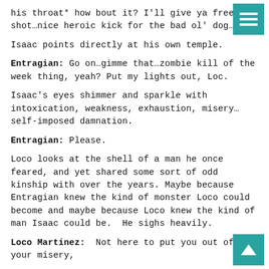his throat* how bout it? I'll give ya free shot…nice heroic kick for the bad ol' dog…
Isaac points directly at his own temple.
Entragian: Go on…gimme that…zombie kill of the week thing, yeah? Put my lights out, Loc.
Isaac's eyes shimmer and sparkle with intoxication, weakness, exhaustion, misery…self-imposed damnation.
Entragian: Please.
Loco looks at the shell of a man he once feared, and yet shared some sort of odd kinship with over the years. Maybe because Entragian knew the kind of monster Loco could become and maybe because Loco knew the kind of man Isaac could be.  He sighs heavily.
Loco Martinez:  Not here to put you out of your misery,